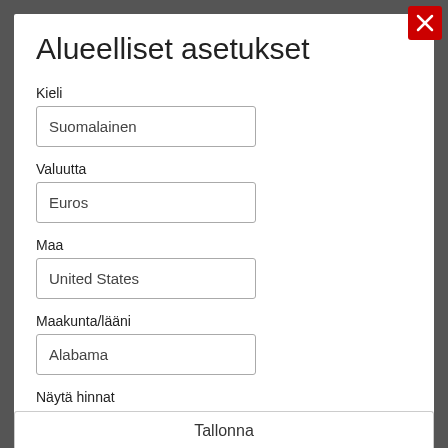Alueelliset asetukset
Kieli
Suomalainen
Valuutta
Euros
Maa
United States
Maakunta/lääni
Alabama
Näytä hinnat
ALV 0%   verollisena
Tallenna